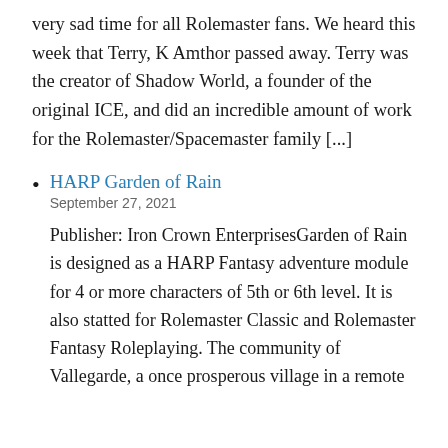very sad time for all Rolemaster fans. We heard this week that Terry, K Amthor passed away. Terry was the creator of Shadow World, a founder of the original ICE, and did an incredible amount of work for the Rolemaster/Spacemaster family [...]
HARP Garden of Rain
September 27, 2021
Publisher: Iron Crown EnterprisesGarden of Rain is designed as a HARP Fantasy adventure module for 4 or more characters of 5th or 6th level. It is also statted for Rolemaster Classic and Rolemaster Fantasy Roleplaying. The community of Vallegarde, a once prosperous village in a remote